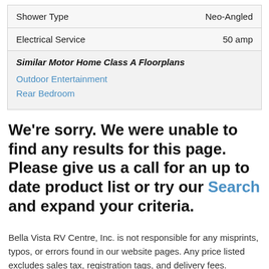| Shower Type | Neo-Angled |
| Electrical Service | 50 amp |
Similar Motor Home Class A Floorplans
Outdoor Entertainment
Rear Bedroom
We're sorry. We were unable to find any results for this page. Please give us a call for an up to date product list or try our Search and expand your criteria.
Bella Vista RV Centre, Inc. is not responsible for any misprints, typos, or errors found in our website pages. Any price listed excludes sales tax, registration tags, and delivery fees. Manufacturer pictures,